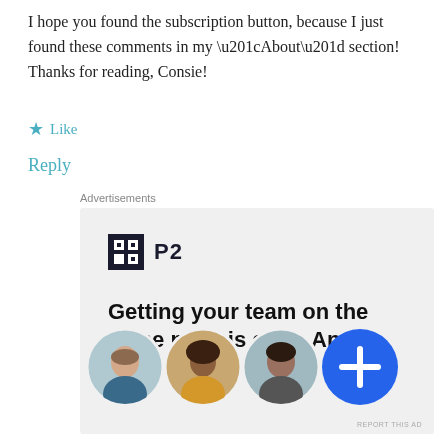I hope you found the subscription button, because I just found these comments in my “About” section! Thanks for reading, Consie!
★ Like
Reply
Advertisements
[Figure (screenshot): P2 advertisement banner with logo, headline 'Getting your team on the same page is easy. And free.' and three circular profile photos plus a blue plus button]